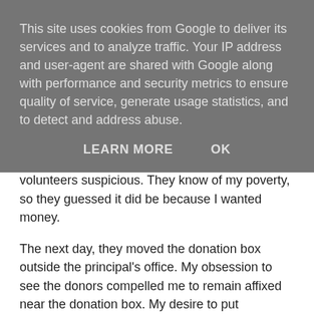This site uses cookies from Google to deliver its services and to analyze traffic. Your IP address and user-agent are shared with Google along with performance and security metrics to ensure quality of service, generate usage statistics, and to detect and address abuse.
LEARN MORE    OK
intense interest in the donation box made the volunteers suspicious. They know of my poverty, so they guessed it did be because I wanted money.
The next day, they moved the donation box outside the principal's office. My obsession to see the donors compelled me to remain affixed near the donation box. My desire to put something in the purple opening of the box increased. Days followed other days and my urge of donating got stronger. One day our English teacher taught us creative writing and talked about the impact of words. I felt the lights and sparks in my brain. I got an idea to make a donation.